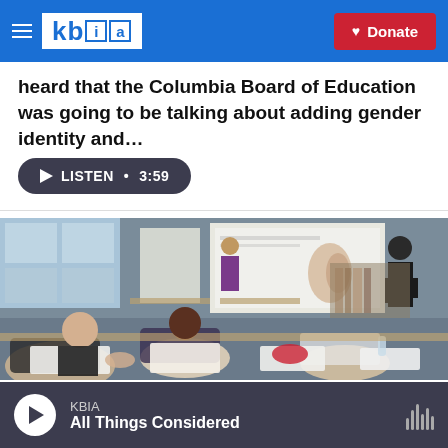KBIA | Donate
heard that the Columbia Board of Education was going to be talking about adding gender identity and…
LISTEN • 3:59
[Figure (photo): A classroom or library workshop setting with multiple people sitting at tables working on papers. A presenter stands at the front near a projection screen showing a slide with an ear image. Another person stands to the right near a whiteboard.]
KBIA
All Things Considered